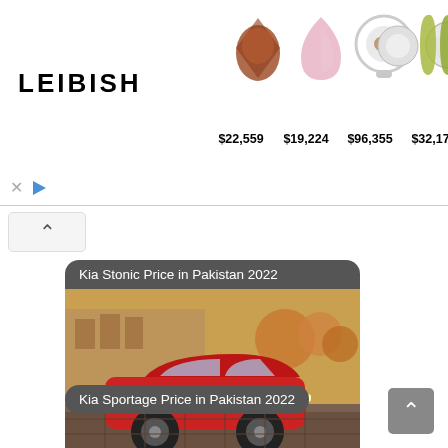[Figure (screenshot): Leibish jewelry advertisement banner showing gemstones and prices: $22,559, $19,224, $96,355, $32,171, $6,277]
[Figure (screenshot): Chat message bubble with label 'Kia Stonic Price in Pakistan 2022' and image of red Kia Sportage/Stonic SUV on cobblestone street]
[Figure (screenshot): Chat message bubble with label 'Kia Sportage Price in Pakistan 2022']